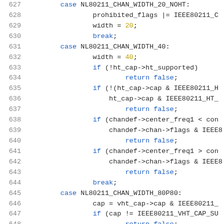[Figure (screenshot): Source code listing showing C code lines 627-648, a switch-case block handling NL80211 channel width cases (NL80211_CHAN_WIDTH_20_NOHT, NL80211_CHAN_WIDTH_40, NL80211_CHAN_WIDTH_80P80) with prohibited_flags, width assignments, ht_cap checks, chandef checks, and return false statements.]